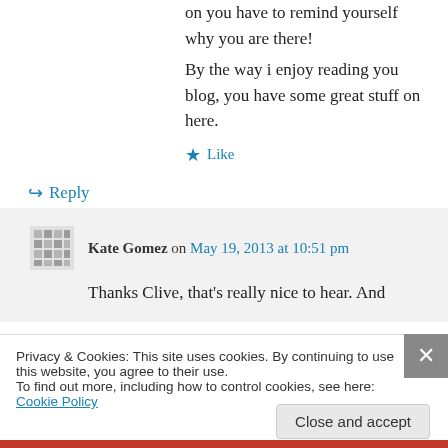on you have to remind yourself why you are there!
By the way i enjoy reading you blog, you have some great stuff on here.
★ Like
↪ Reply
Kate Gomez on May 19, 2013 at 10:51 pm
Thanks Clive, that's really nice to hear. And
Privacy & Cookies: This site uses cookies. By continuing to use this website, you agree to their use.
To find out more, including how to control cookies, see here: Cookie Policy
Close and accept